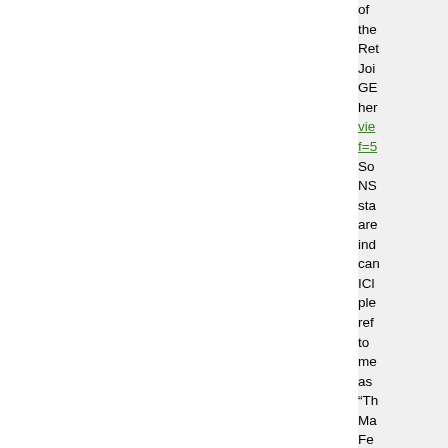of the Ret Join GE her view f=5 Som NS stat are inde can ICly plea refe to me as “Th Mar Fed and my citiz as “Me OO call